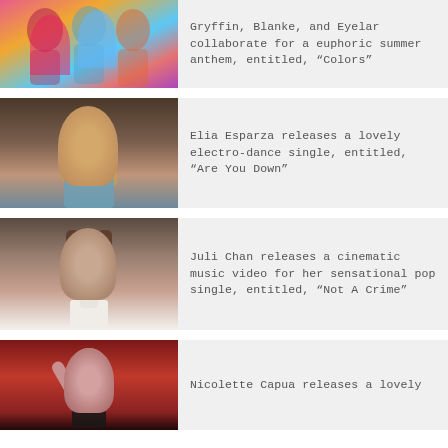[Figure (photo): Colorful illustrated image of three artists — Gryffin, Blanke, and Eyelar — with vibrant colors]
Gryffin, Blanke, and Eyelar collaborate for a euphoric summer anthem, entitled, “Colors”
[Figure (photo): Photo of Elia Esparza, a blonde woman, posing in a doorway]
Elia Esparza releases a lovely electro-dance single, entitled, “Are You Down”
[Figure (photo): Photo of Juli Chan, a brunette woman wearing a white turtleneck]
Juli Chan releases a cinematic music video for her sensational pop single, entitled, “Not A Crime”
[Figure (photo): Photo of Nicolette Capua, a woman posing against a red background]
Nicolette Capua releases a lovely